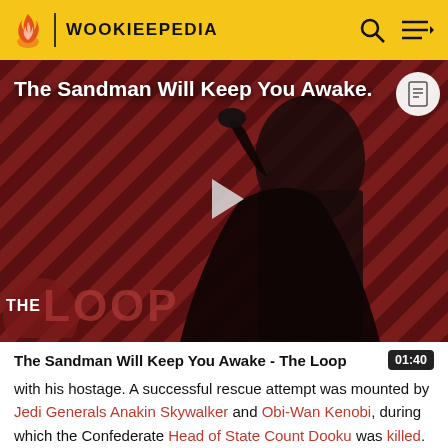WOOKIEEPEDIA
[Figure (screenshot): Video thumbnail showing a dark-robed figure against a red diagonal striped background with 'The Loop' logo overlay and a play button. Title reads 'The Sandman Will Keep You Awake.']
The Sandman Will Keep You Awake - The Loop
with his hostage. A successful rescue attempt was mounted by Jedi Generals Anakin Skywalker and Obi-Wan Kenobi, during which the Confederate Head of State Count Dooku was killed.[6]